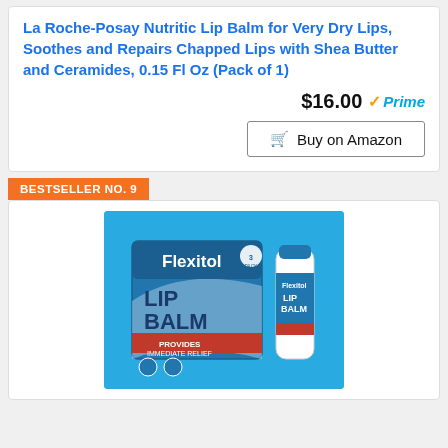La Roche-Posay Nutritic Lip Balm for Very Dry Lips, Soothes and Repairs Chapped Lips with Shea Butter and Ceramides, 0.15 Fl Oz (Pack of 1)
$16.00 Prime
Buy on Amazon
BESTSELLER NO. 9
[Figure (photo): Flexitol Lip Balm product packaging on blue background, showing box and tube]